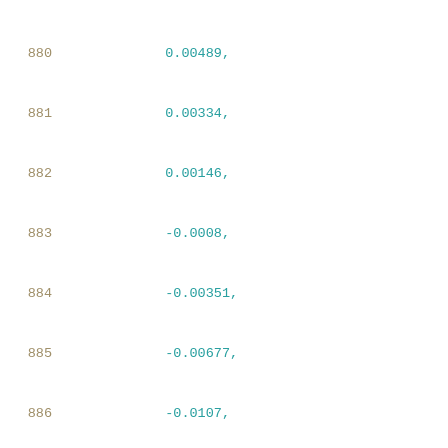880   0.00489,
881   0.00334,
882   0.00146,
883   -0.0008,
884   -0.00351,
885   -0.00677,
886   -0.0107,
887   -0.01541,
888   -0.02107,
889   -0.02788,
890   -0.03605,
891   -0.04585,
892   -0.05762,
893   -0.07176
894   ],
895   [
896   0.01253,
897   0.00488,
898   0.00332,
899   0.00145,
900   -0.00081,